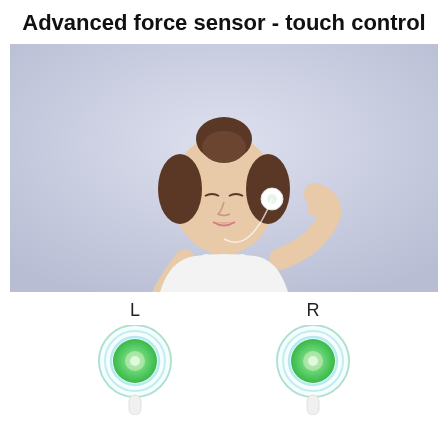Advanced force sensor - touch control
[Figure (photo): A young woman in a white tank top touching a wireless earbud in her ear, eyes closed, against a light blue/lavender background.]
[Figure (illustration): Two circular touch-sensitive earbud icons labeled L and R, with concentric green ripple rings indicating touch sensor areas.]